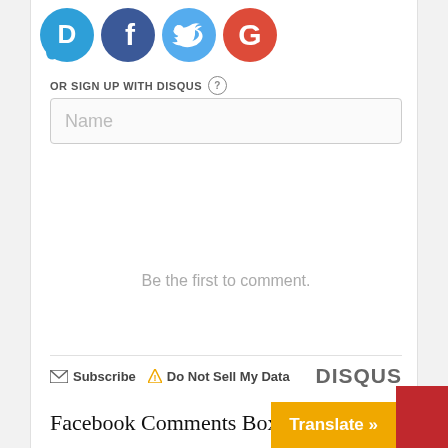[Figure (logo): Four social media icons: Disqus (blue speech bubble with D), Facebook (blue circle with f), Twitter (light blue circle with bird), Google (red circle with G)]
OR SIGN UP WITH DISQUS ?
[Figure (screenshot): Name input field (text box) with placeholder text 'Name']
Be the first to comment.
Subscribe  Do Not Sell My Data   DISQUS
Facebook Comments Box
0 Comments   Sort by Newest
[Figure (screenshot): Add a comment input box at the bottom]
Translate »